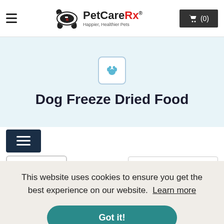PetCareRx - Happier, Healthier Pets — Cart (0)
Dog Freeze Dried Food
[Figure (screenshot): Filter button with three horizontal lines on dark navy background]
[Figure (screenshot): Product placeholder card outline and Sort dropdown selector]
This website uses cookies to ensure you get the best experience on our website. Learn more
Got it!